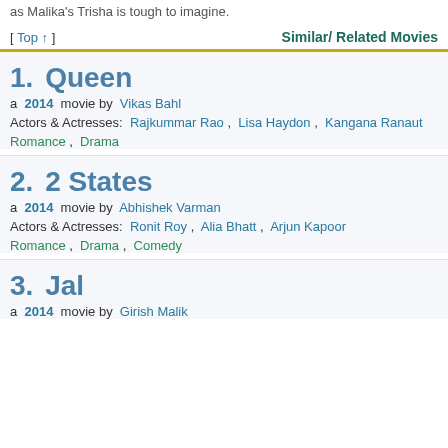as Malika's Trisha is tough to imagine.
[ Top ↑ ]
Similar/ Related Movies
1. Queen
a 2014 movie by Vikas Bahl
Actors & Actresses: Rajkummar Rao , Lisa Haydon , Kangana Ranaut
Romance , Drama
2. 2 States
a 2014 movie by Abhishek Varman
Actors & Actresses: Ronit Roy , Alia Bhatt , Arjun Kapoor
Romance , Drama , Comedy
3. Jal
a 2014 movie by Girish Malik